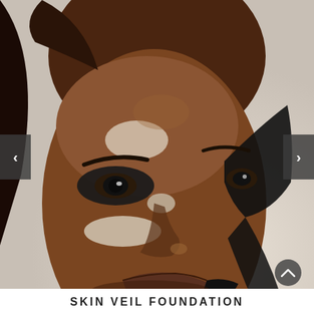[Figure (photo): Close-up portrait of a woman with vitiligo, wearing dramatic dark smoky eye makeup and artistic face paint with white patches and black streaks across her features. The image is a beauty/fashion photograph.]
SKIN VEIL FOUNDATION